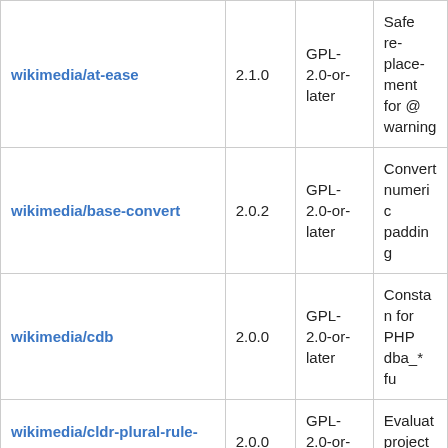| Package | Version | License | Description |
| --- | --- | --- | --- |
| wikimedia/at-ease | 2.1.0 | GPL-2.0-or-later | Safe replacement for @ warning |
| wikimedia/base-convert | 2.0.2 | GPL-2.0-or-later | Convert numeric padding |
| wikimedia/cdb | 2.0.0 | GPL-2.0-or-later | Constant database for PHP dba_* fu |
| wikimedia/cldr-plural-rule-parser | 2.0.0 | GPL-2.0-or-later | Evaluates project r |
| wikimedia/common-passwords | 0.4.0 | MIT | List of the passwo |
| wikimedia/composer-merge-plugin | 2.0.1 | MIT | Compos compos |